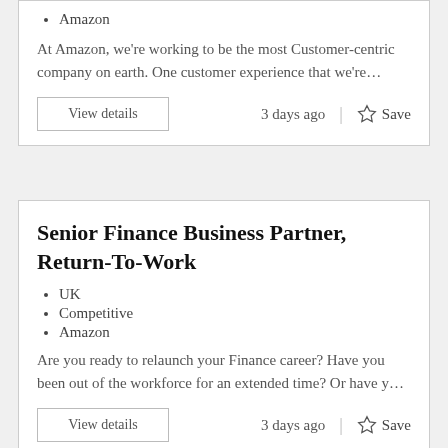Amazon
At Amazon, we're working to be the most Customer-centric company on earth. One customer experience that we're…
View details
3 days ago  |  ☆ Save
Senior Finance Business Partner, Return-To-Work
UK
Competitive
Amazon
Are you ready to relaunch your Finance career? Have you been out of the workforce for an extended time? Or have y…
View details
3 days ago  |  ☆ Save